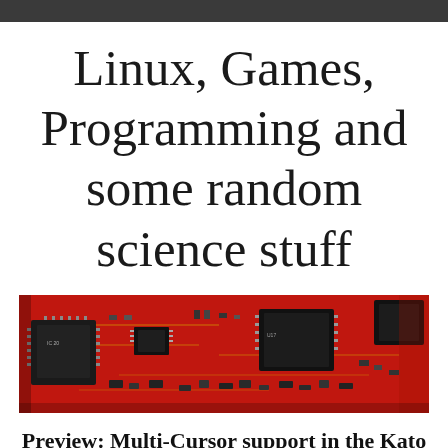Linux, Games, Programming and some random science stuff
[Figure (photo): Close-up photo of a red circuit board with multiple microchips and electronic components]
Preview: Multi-Cursor support in the Kato Text Editor